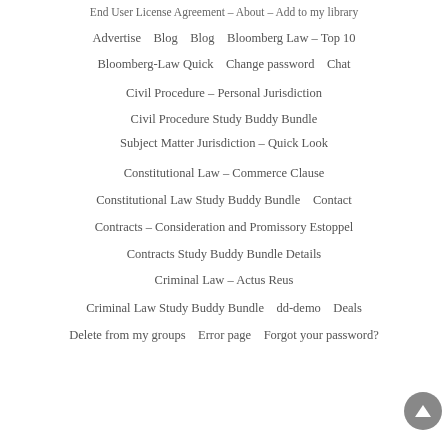End User License Agreement – About – Add to my library
Advertise   Blog   Blog   Bloomberg Law – Top 10
Bloomberg-Law Quick   Change password   Chat
Civil Procedure – Personal Jurisdiction
Civil Procedure Study Buddy Bundle
Subject Matter Jurisdiction – Quick Look
Constitutional Law – Commerce Clause
Constitutional Law Study Buddy Bundle   Contact
Contracts – Consideration and Promissory Estoppel
Contracts Study Buddy Bundle Details
Criminal Law – Actus Reus
Criminal Law Study Buddy Bundle   dd-demo   Deals
Delete from my groups   Error page   Forgot your password?